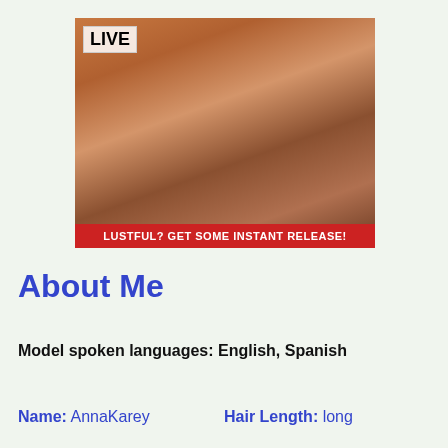[Figure (screenshot): Live webcam advertisement banner showing a woman, with a red 'LIVE' badge in the top-left corner and a red bottom bar reading 'LUSTFUL? GET SOME INSTANT RELEASE!']
About Me
Model spoken languages: English, Spanish
Name: AnnaKarev   Hair Length: long